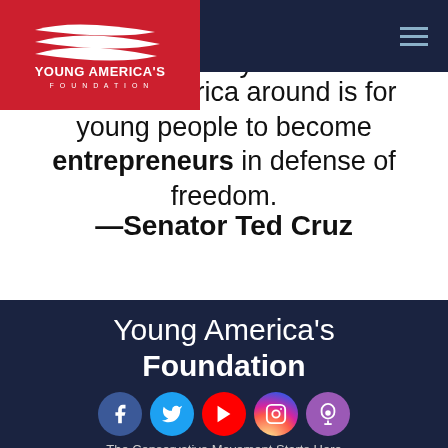[Figure (logo): Young America's Foundation logo — red background with white eagle/wave design and text]
freedom. The key to turning America around is for young people to become entrepreneurs in defense of freedom.
—Senator Ted Cruz
Young America's Foundation
[Figure (infographic): Social media icons row: Facebook (blue), Twitter (light blue), YouTube (red), Instagram (gradient pink/purple), Podcast (purple)]
The Conservative Movement Starts Here